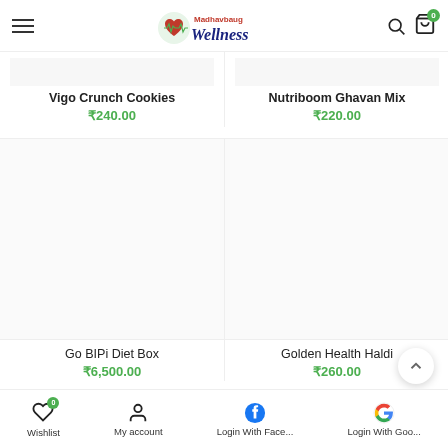Madhavbaug Wellness - Navigation bar with hamburger menu, logo, search and cart icons
Vigo Crunch Cookies
₹240.00
Nutriboom Ghavan Mix
₹220.00
Go BIPi Diet Box
₹6,500.00
Golden Health Haldi
₹260.00
Wishlist  My account  Login With Face...  Login With Goo...